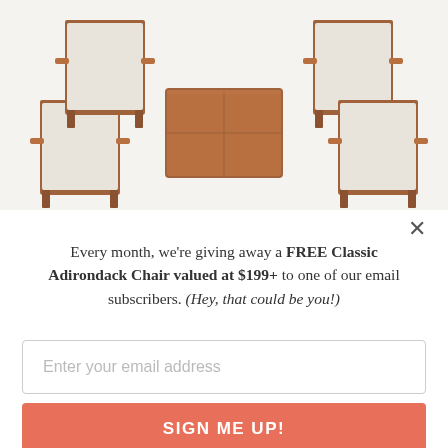[Figure (photo): Outdoor patio furniture set with four armchairs with white cushions and a square wooden coffee table, viewed from slightly above, brown wood frame]
×
Every month, we're giving away a FREE Classic Adirondack Chair valued at $199+ to one of our email subscribers. (Hey, that could be you!)
Enter your email address
SIGN ME UP!
One (1) winner will be selected at random at the end of every month and contacted by email. U.S. entrants only.